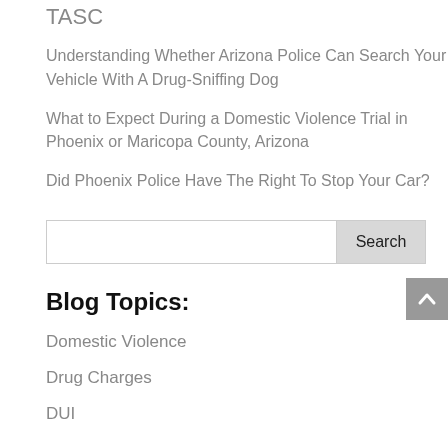TASC
Understanding Whether Arizona Police Can Search Your Vehicle With A Drug-Sniffing Dog
What to Expect During a Domestic Violence Trial in Phoenix or Maricopa County, Arizona
Did Phoenix Police Have The Right To Stop Your Car?
[Figure (other): Search input box with Search button]
Blog Topics:
Domestic Violence
Drug Charges
DUI